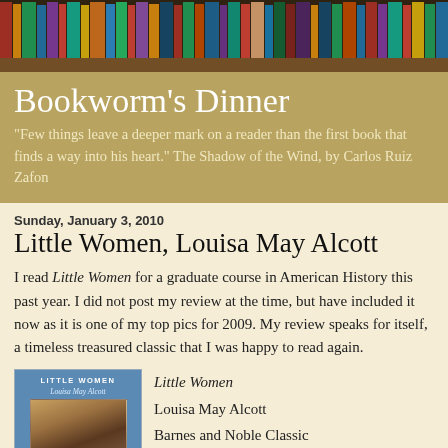[Figure (photo): Colorful bookshelf banner image with rows of books of various colors and sizes]
Bookworm's Dinner
"Few things leave a deeper mark on a reader than the first book that finds a way into his heart." The Shadow of the Wind, by Carlos Ruiz Zafon
Sunday, January 3, 2010
Little Women, Louisa May Alcott
I read Little Women for a graduate course in American History this past year. I did not post my review at the time, but have included it now as it is one of my top pics for 2009. My review speaks for itself, a timeless treasured classic that I was happy to read again.
[Figure (photo): Book cover of Little Women by Louisa May Alcott, Barnes and Noble Classic edition, blue cover]
Little Women
Louisa May Alcott
Barnes and Noble Classic
528 pages